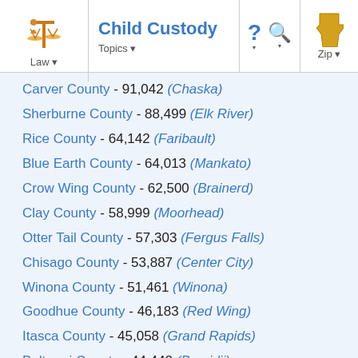Child Custody — Law | Topics | Zip
Carver County - 91,042 (Chaska)
Sherburne County - 88,499 (Elk River)
Rice County - 64,142 (Faribault)
Blue Earth County - 64,013 (Mankato)
Crow Wing County - 62,500 (Brainerd)
Clay County - 58,999 (Moorhead)
Otter Tail County - 57,303 (Fergus Falls)
Chisago County - 53,887 (Center City)
Winona County - 51,461 (Winona)
Goodhue County - 46,183 (Red Wing)
Itasca County - 45,058 (Grand Rapids)
Beltrami County - 44,442 (Bemidji)
Kandiyohi County - 42,239 (Willmar)
Mower County - 39,163 (Austin)
Benton County - 38,451 (Foley)
Isanti County - 37,816 (Cambridge)